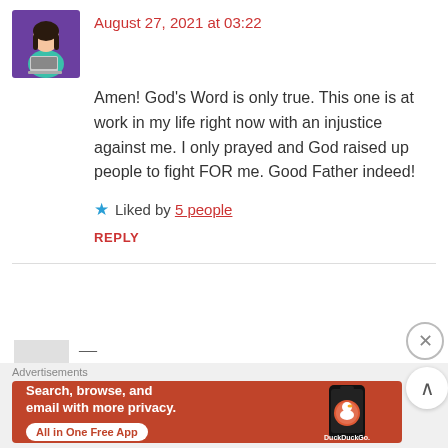[Figure (illustration): Avatar illustration of a woman with dark hair sitting at a laptop, purple background.]
August 27, 2021 at 03:22
Amen! God's Word is only true. This one is at work in my life right now with an injustice against me. I only prayed and God raised up people to fight FOR me. Good Father indeed!
★ Liked by 5 people
REPLY
Advertisements
[Figure (screenshot): DuckDuckGo advertisement banner with orange background showing a smartphone with DuckDuckGo logo. Text reads: Search, browse, and email with more privacy. All in One Free App. DuckDuckGo.]